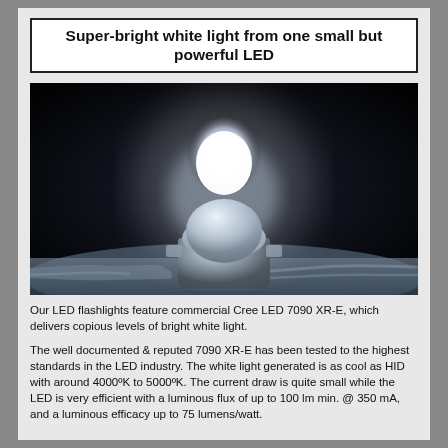Super-bright white light from one small but powerful LED
[Figure (photo): Close-up photograph of a Cree LED 7090 XR-E component on a circuit board, glowing with an intense white light in a dark environment.]
Our LED flashlights feature commercial Cree LED 7090 XR-E, which delivers copious levels of bright white light.
The well documented & reputed 7090 XR-E has been tested to the highest standards in the LED industry. The white light generated is as cool as HID with around 4000ºK to 5000ºK. The current draw is quite small while the LED is very efficient with a luminous flux of up to 100 lm min. @ 350 mA, and a luminous efficacy up to 75 lumens/watt.